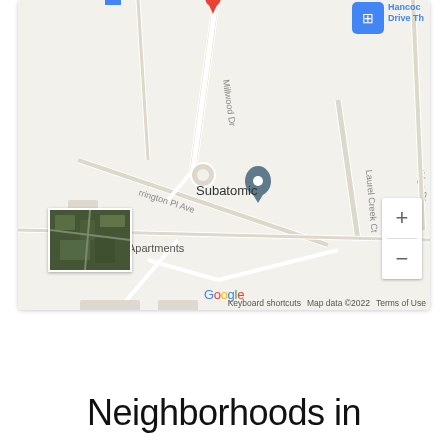[Figure (map): Google Maps screenshot showing a neighborhood area with streets including Millwood Dr, Laurel Creek Ct, rrington Pl Ave, and a location marker labeled 'Subatomic'. Visible business pins for Winn-Dixie (blue), a red pin (Rouge Coinnub area), and Hancock Drive Thru (blue). Map includes zoom controls (+/-), a satellite thumbnail in the lower left corner, Google logo, keyboard shortcuts, Map data ©2022, and Terms of Use.]
Neighborhoods in